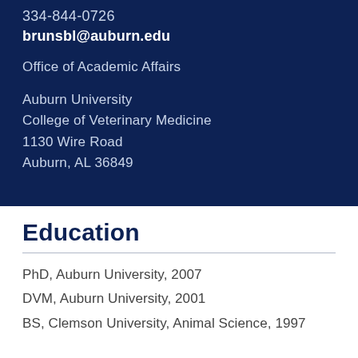334-844-0726
brunsbl@auburn.edu
Office of Academic Affairs
Auburn University
College of Veterinary Medicine
1130 Wire Road
Auburn, AL 36849
Education
PhD, Auburn University, 2007
DVM, Auburn University, 2001
BS, Clemson University, Animal Science, 1997